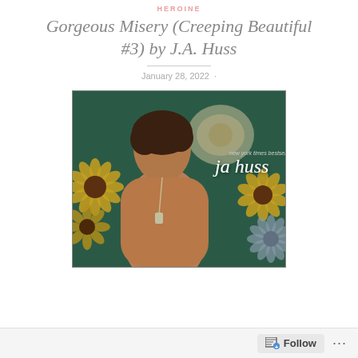HEROINE
Gorgeous Misery (Creeping Beautiful #3) by J.A. Huss
January 28, 2022
[Figure (photo): Book cover for 'Gorgeous Misery' by JA Huss. A shirtless muscular man with dark wavy hair holding dog tags, surrounded by sunflowers on a dark teal/green background. Text reads 'new york times bestselling author ja huss'.]
Follow ...